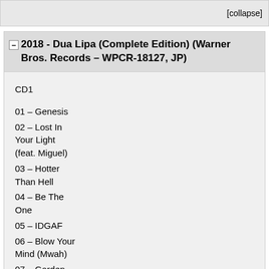[collapse]
2018 - Dua Lipa (Complete Edition) (Warner Bros. Records – WPCR-18127, JP)
CD1
01 – Genesis
02 – Lost In Your Light (feat. Miguel)
03 – Hotter Than Hell
04 – Be The One
05 – IDGAF
06 – Blow Your Mind (Mwah)
07 – Garden
08 – No Goodbyes